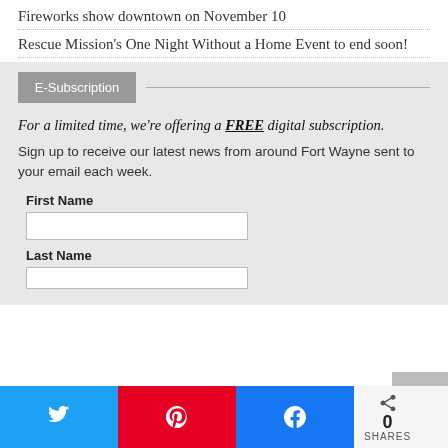Fireworks show downtown on November 10
Rescue Mission's One Night Without a Home Event to end soon!
E-Subscription
For a limited time, we're offering a FREE digital subscription.
Sign up to receive our latest news from around Fort Wayne sent to your email each week.
First Name
Last Name
0 SHARES